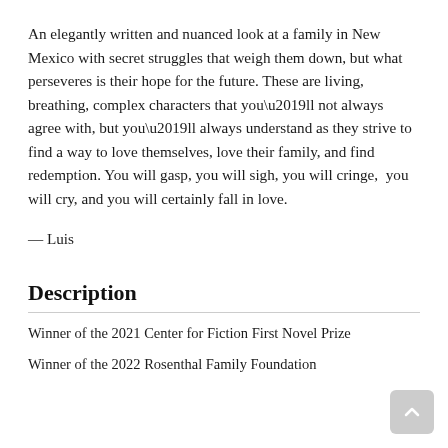An elegantly written and nuanced look at a family in New Mexico with secret struggles that weigh them down, but what perseveres is their hope for the future. These are living, breathing, complex characters that you’ll not always agree with, but you’ll always understand as they strive to find a way to love themselves, love their family, and find redemption. You will gasp, you will sigh, you will cringe,  you will cry, and you will certainly fall in love.
— Luis
Description
Winner of the 2021 Center for Fiction First Novel Prize
Winner of the 2022 Rosenthal Family Foundation